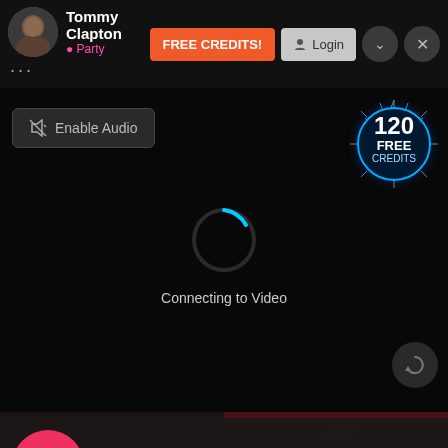[Figure (screenshot): Top navigation bar with user avatar (Tommy Clapton), Party status, FREE CREDITS button, Login button, and close/minimize controls]
Tommy Clapton
● Party
FREE CREDITS!
Login
[Figure (screenshot): Video streaming area with loading spinner and Connecting to Video text]
Enable Audio
[Figure (infographic): 120 FREE CREDITS badge with starburst glow effect]
Connecting to Video
[Figure (infographic): 18+ red circle age warning icon]
Flirtlu.net contains adult content
By using the site, you acknowledge you have read our Privacy Policy, and agree to our Terms and Conditions.
We use cookies to optimize your experience, analyze traffic, and deliver more personalized service. To learn more, please see our Privacy Policy.
I AGREE